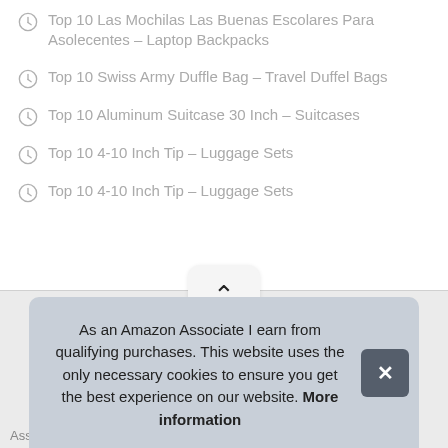Top 10 Las Mochilas Las Buenas Escolares Para Asolecentes – Laptop Backpacks
Top 10 Swiss Army Duffle Bag – Travel Duffel Bags
Top 10 Aluminum Suitcase 30 Inch – Suitcases
Top 10 4-10 Inch Tip – Luggage Sets
Top 10 4-10 Inch Tip – Luggage Sets
As an Amazon Associate I earn from qualifying purchases. This website uses the only necessary cookies to ensure you get the best experience on our website. More information